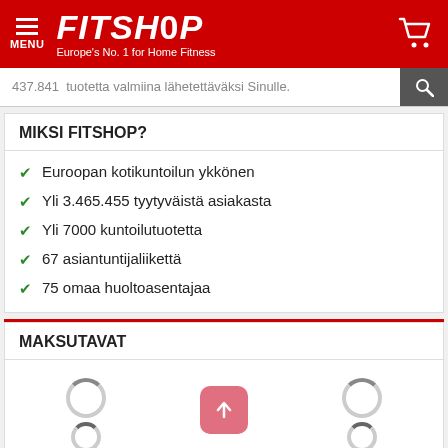[Figure (screenshot): Fitshop website header with red background, hamburger menu icon with MENU text, FITSHOP logo in white italic bold font, tagline Europe's No. 1 for Home Fitness, and shopping cart icon]
437.841  tuotetta valmiina lähetettäväksi Sinulle.
MIKSI FITSHOP?
Euroopan kotikuntoilun ykkönen
Yli 3.465.455 tyytyväistä asiakasta
Yli 7000 kuntoilutuotetta
67 asiantuntijaliikettä
75 omaa huoltoasentajaa
MAKSUTAVAT
[Figure (screenshot): Loading spinners and an up-arrow button indicating payment methods section loading]